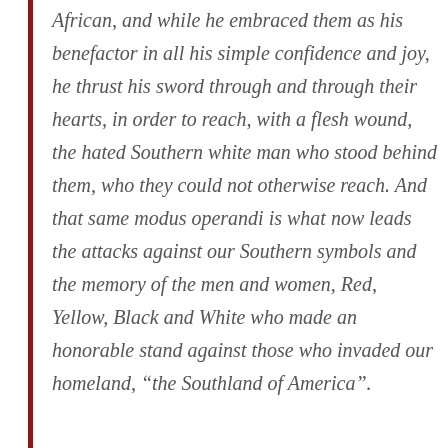African, and while he embraced them as his benefactor in all his simple confidence and joy, he thrust his sword through and through their hearts, in order to reach, with a flesh wound, the hated Southern white man who stood behind them, who they could not otherwise reach. And that same modus operandi is what now leads the attacks against our Southern symbols and the memory of the men and women, Red, Yellow, Black and White who made an honorable stand against those who invaded our homeland, “the Southland of America”.